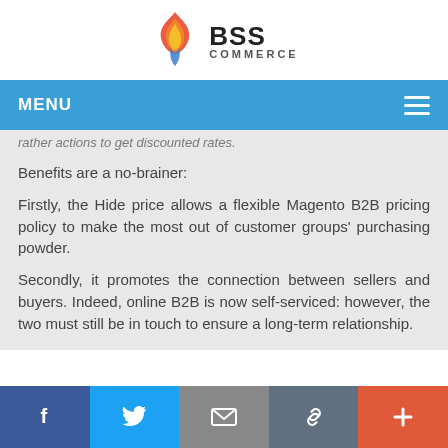[Figure (logo): BSS Commerce logo with flame icon and text]
MENU (navigation bar)
rather actions to get discounted rates.
Benefits are a no-brainer:
Firstly, the Hide price allows a flexible Magento B2B pricing policy to make the most out of customer groups' purchasing powder.
Secondly, it promotes the connection between sellers and buyers. Indeed, online B2B is now self-serviced: however, the two must still be in touch to ensure a long-term relationship.
Social share buttons: Facebook, Twitter, Email, Link, Plus